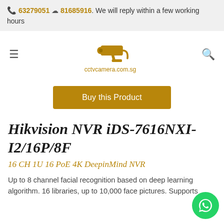📞 63279051 💬 81685916. We will reply within a few working hours
[Figure (logo): CCTV camera logo icon in gold/brown color above text cctvcamera.com.sg]
[Figure (other): Buy this Product button in gold/brown color]
Hikvision NVR iDS-7616NXI-I2/16P/8F
16 CH 1U 16 PoE 4K DeepinMind NVR
Up to 8 channel facial recognition based on deep learning algorithm. 16 libraries, up to 10,000 face pictures. Supports